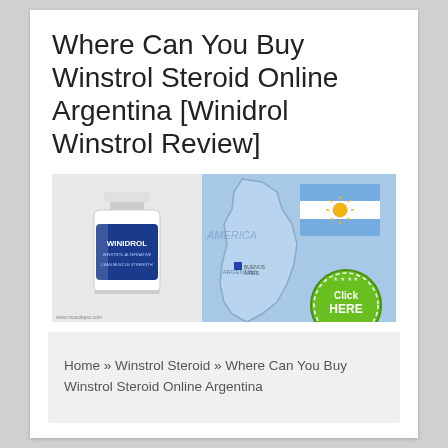Where Can You Buy Winstrol Steroid Online Argentina [Winidrol Winstrol Review]
[Figure (illustration): Banner image showing a bottle of Winidrol supplement product on the left, a light blue map of Argentina in the center with a small location marker, the Argentine flag (blue and white stripes with sun emblem) in the top right, and a green circular 'Click HERE' button in the bottom right corner. A website URL watermark is visible at the bottom left.]
Home » Winstrol Steroid » Where Can You Buy Winstrol Steroid Online Argentina